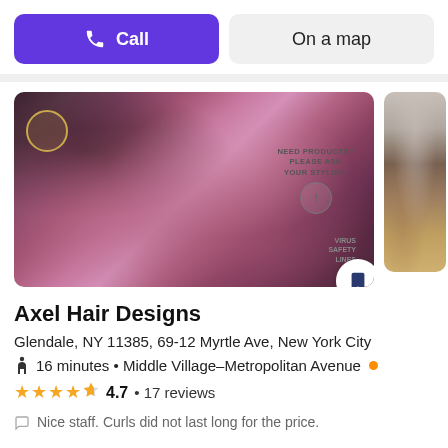Call
On a map
[Figure (photo): Photo of hair with purple/pink highlights at a hair salon, with a sign reading NEED PRODUCTS? PLEASE ASK YOUR STYLIST!]
[Figure (photo): Partial photo of salon interior with brick wall]
Axel Hair Designs
Glendale, NY 11385, 69-12 Myrtle Ave, New York City
16 minutes • Middle Village–Metropolitan Avenue
4.7 • 17 reviews
Nice staff. Curls did not last long for the price.